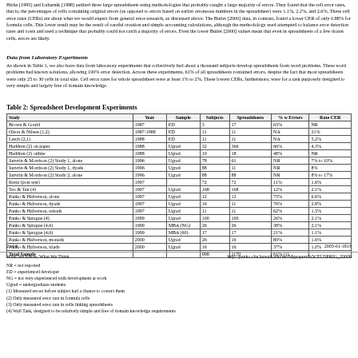Hicks [1995] and Lubarnik [1998] audited three large spreadsheets using methodologies that probably caught a large majority of errors. They found that the cell error rates, that is, the percentages of cells containing original errors (as opposed to errors based on earlier erroneous numbers in the spreadsheet) were 1.1%, 2.2%, and 2.6%. These cell error rates (CERs) are about what we would expect from general error research, as discussed above. The Butler [2000] data, in contrast, found a lower CER of only 0.88% for formula cells. This lower result may be the result of careful creation and simple accounting calculations, although the methodology used attempted to balance error detection rates and costs and used a technique that probably could not catch a majority of errors. Even the lower Butler [2000] values mean that even in spreadsheets of a few dozen cells, errors are likely.
Data from Laboratory Experiments
As shown in Table 1, we also have data from laboratory experiments that collectively had about a thousand subjects develop spreadsheets from word problems. These word problems had known solutions, allowing 100% error detection. Across these experiments, 61% of all spreadsheets contained errors, despite the fact that most spreadsheets were only 25 to 50 cells in total size. Cell error rates for whole spreadsheet were at least 1% to 2%. These lowest CERs, furthermore, were for a task purposely designed to very simple and largely free of domain knowledge.
Table 2: Spreadsheet Development Experiments
| Study | Year | Sample | Subjects | Spreadsheets | % w Errors | Cell Error Rate CER |
| --- | --- | --- | --- | --- | --- | --- |
| Brown & Gould | 1987 | ED | 3 | 17 | 63% | NR |
| Olson & Nilsen (1,2) | 1987-1988 | ED | 11 | 11 | NA | 21% |
| Lerch (2,1) | 1988 | ED | 11 | 11 | NA | 5.2% |
| Haddren (2) on paper | 1988 | Ugrad | 32 | 366 | 66% | 4.3% |
| Haddren (2) online | 1988 | Ugrad | 10 | 18 | 48% | NR |
| Janvrin & Morrison (2) Study 1, alone | 1996 | Ugrad | 78 | 61 | NR | 7% to 10% |
| Janvrin & Morrison (2) Study 1, dyads | 1996 | Ugrad | 88 | 11 | NR | 8% |
| Janvrin & Morrison (2) Study 2, alone | 1996 | Ugrad | 88 | 88 | NR | 8% to 17% |
| Kreie (post test) | 1997 |  | 72 | 72 | 11% | 1.6% |
| Teo & Tan (4) | 1997 | Ugrad | 168 | 168 | 12% | 2.1% |
| Panko & Halverson, alone | 1997 | Ugrad | 12 | 12 | 75% | 6.6% |
| Panko & Halverson, dyads | 1997 | Ugrad | 16 | 11 | 76% | 2.8% |
| Panko & Halverson, tetrads | 1997 | Ugrad | 11 | 11 | 62% | 1.5% |
| Panko & Sprague (4) | 1999 | Ugrad | 100 | 100 | 26% | 2.1% |
| Panko & Sprague (4,6) | 1999 | MBA (NG) | 26 | 26 | 38% | 2.1% |
| Panko & Sprague (4,6) | 1999 | MBA (60) | 17 | 17 | 21% | 1.1% |
| Panko & Halverson, monads | 2000 | Ugrad | 26 | 16 | 80% | 1.6% |
| Panko & Halverson, triads | 2000 | Ugrad | 16 | 16 | 37% | 1.0% |
| Total Sample |  |  | 998 | 1170 | 61% (1) |  |
2 of 8                                                                                  2005-01-181±
What We Know, What We Think                                               http://panko.cba.hawaii.edu/ssr/Mypapers%5CEUSPRIG_2000h
NR = not reported
ED = experienced developer
NG = not very experienced with development at work
Ugrad = undergraduate students
(1) Measured errors before subject had a chance to correct them
(2) Only measured error rate in formula cells
(3) Only measured error rate in cells linking spreadsheets
(4) Wall Task, designed to be relatively simple and free of domain knowledge requirements